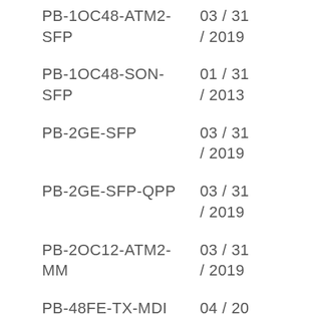PB-1OC48-ATM2-SFP	03 / 31 / 2019
PB-1OC48-SON-SFP	01 / 31 / 2013
PB-2GE-SFP	03 / 31 / 2019
PB-2GE-SFP-QPP	03 / 31 / 2019
PB-2OC12-ATM2-MM	03 / 31 / 2019
PB-48FE-TX-MDI	04 / 20 / 2015